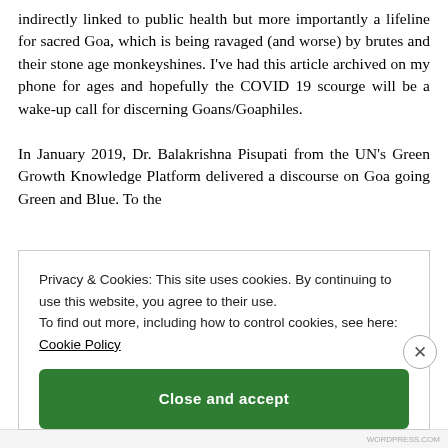indirectly linked to public health but more importantly a lifeline for sacred Goa, which is being ravaged (and worse) by brutes and their stone age monkeyshines. I've had this article archived on my phone for ages and hopefully the COVID 19 scourge will be a wake-up call for discerning Goans/Goaphiles.

In January 2019, Dr. Balakrishna Pisupati from the UN's Green Growth Knowledge Platform delivered a discourse on Goa going Green and Blue. To the
Privacy & Cookies: This site uses cookies. By continuing to use this website, you agree to their use.
To find out more, including how to control cookies, see here: Cookie Policy
Close and accept